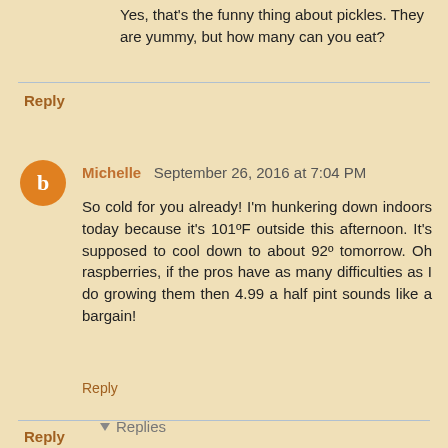Yes, that's the funny thing about pickles. They are yummy, but how many can you eat?
Reply
Michelle  September 26, 2016 at 7:04 PM
So cold for you already! I'm hunkering down indoors today because it's 101ºF outside this afternoon. It's supposed to cool down to about 92º tomorrow. Oh raspberries, if the pros have as many difficulties as I do growing them then 4.99 a half pint sounds like a bargain!
Reply
Replies
Eight Gate Farm NH  September 27, 2016 at 7:23 AM
Stay out of the hot sun.
Reply